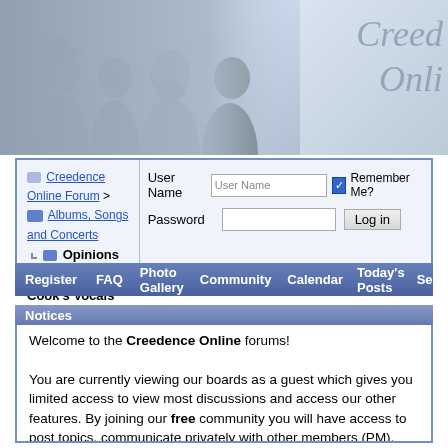[Figure (photo): Banner with black and white photo of four men (band members) on left, and stylized italic script reading 'Creedo Onli' on right against a light blue gradient background]
Creedence Online Forum > Albums, Songs and Concerts > Opinions On Stu Cook's Vocals
User Name | Password | Remember Me? | Log in
Register  FAQ  Photo Gallery  Community  Calendar  Today's Posts  Search
Notices
Welcome to the Creedence Online forums!

You are currently viewing our boards as a guest which gives you limited access to view most discussions and access our other features. By joining our free community you will have access to post topics, communicate privately with other members (PM), respond to polls, create photo albums, upload content and access many other special features. Registration is fast, simple and absolutely free so please, join our community today!